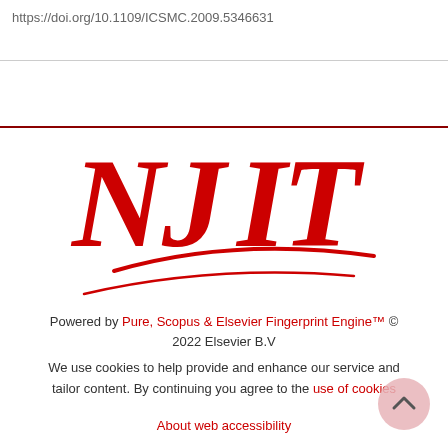https://doi.org/10.1109/ICSMC.2009.5346631
[Figure (logo): NJIT red logo with swoosh underline]
Powered by Pure, Scopus & Elsevier Fingerprint Engine™ © 2022 Elsevier B.V
We use cookies to help provide and enhance our service and tailor content. By continuing you agree to the use of cookies
About web accessibility